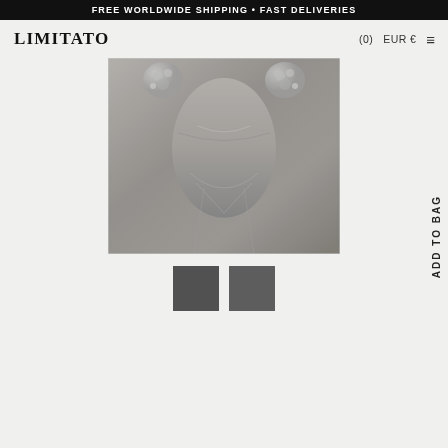FREE WORLDWIDE SHIPPING • FAST DELIVERIES
LIMITATO
(0)  EUR €  ≡
[Figure (photo): Grayscale fashion photo of a woman's neck and chest, wearing a delicate necklace and body chain, with large crystal earrings and a sheer top, cropped above the face]
[Figure (photo): Small thumbnail 1 - dark grayscale square thumbnail of the same fashion photo]
[Figure (photo): Small thumbnail 2 - dark grayscale square thumbnail, slightly different crop]
ADD TO BAG